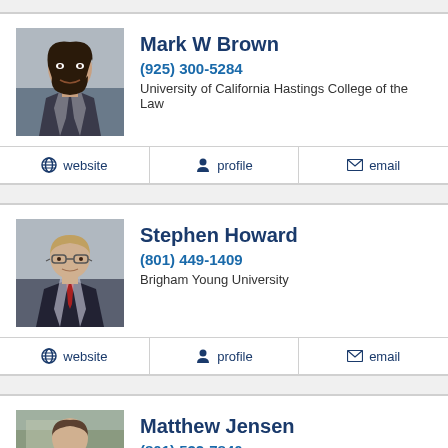[Figure (photo): Profile photo of Mark W Brown, male with shoulder-length dark hair and beard, wearing suit]
Mark W Brown
(925) 300-5284
University of California Hastings College of the Law
website  profile  email
[Figure (photo): Profile photo of Stephen Howard, male with short light hair wearing suit and red tie]
Stephen Howard
(801) 449-1409
Brigham Young University
website  profile  email
[Figure (photo): Profile photo of Matthew Jensen, male wearing suit and red tie]
Matthew Jensen
(801) 532-7840